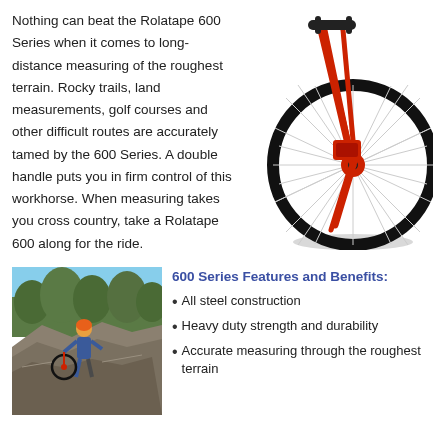Nothing can beat the Rolatape 600 Series when it comes to long-distance measuring of the roughest terrain. Rocky trails, land measurements, golf courses and other difficult routes are accurately tamed by the 600 Series. A double handle puts you in firm control of this workhorse. When measuring takes you cross country, take a Rolatape 600 along for the ride.
[Figure (illustration): Red Rolatape 600 Series measuring wheel with large black wheel, red metal frame and double handle, shown at an angle]
[Figure (photo): Person wearing orange helmet using a red Rolatape measuring wheel on rocky outdoor terrain with trees in background]
600 Series Features and Benefits:
All steel construction
Heavy duty strength and durability
Accurate measuring through the roughest terrain